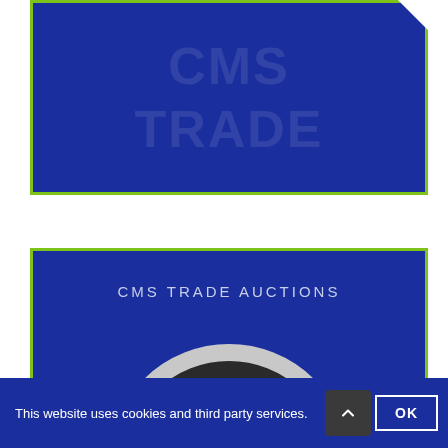[Figure (logo): Top blue card with green border, faded background logo/text watermark, and a folded white corner in the top-right with a plus sign]
[Figure (logo): Bottom blue card with green border, text 'CMS TRADE AUCTIONS' and a partial arch/rainbow graphic in grey, white, and dark tones at the bottom]
This website uses cookies and third party services.
OK